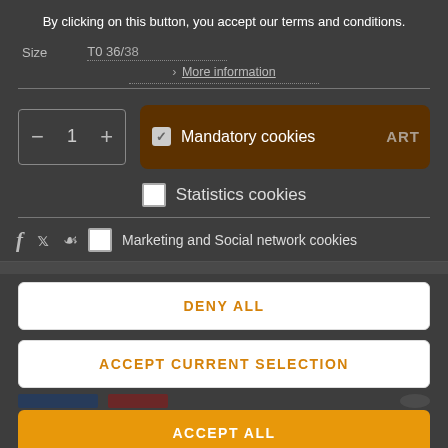By clicking on this button, you accept our terms and conditions.
Size    T0 36/38
> More information
[Figure (screenshot): Quantity selector box showing minus, 1, plus controls]
[Figure (screenshot): Mandatory cookies checkbox option in dark brown/orange box with checkmark, overlapping ADD TO CART text]
[Figure (screenshot): Statistics cookies unchecked checkbox option]
[Figure (screenshot): Social media icons (facebook, twitter, pinterest) with Marketing and Social network cookies unchecked checkbox]
DENY ALL
ACCEPT CURRENT SELECTION
ACCEPT ALL